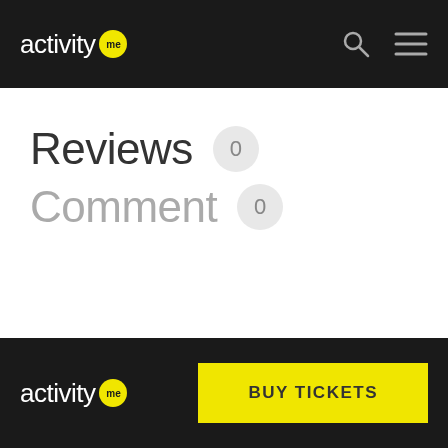activity me
Reviews 0
Comment 0
BUY TICKETS activity me